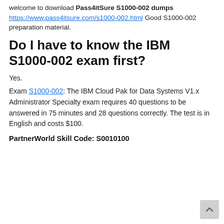welcome to download Pass4itSure S1000-002 dumps https://www.pass4itsure.com/s1000-002.html Good S1000-002 preparation material.
Do I have to know the IBM S1000-002 exam first?
Yes.
Exam S1000-002: The IBM Cloud Pak for Data Systems V1.x Administrator Specialty exam requires 40 questions to be answered in 75 minutes and 28 questions correctly. The test is in English and costs $100.
PartnerWorld Skill Code: S0010100